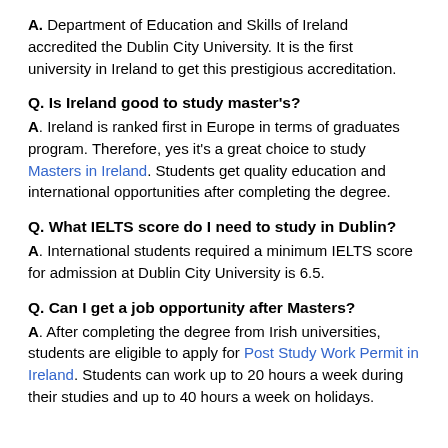A. Department of Education and Skills of Ireland accredited the Dublin City University. It is the first university in Ireland to get this prestigious accreditation.
Q. Is Ireland good to study master's?
A. Ireland is ranked first in Europe in terms of graduates program. Therefore, yes it's a great choice to study Masters in Ireland. Students get quality education and international opportunities after completing the degree.
Q. What IELTS score do I need to study in Dublin?
A. International students required a minimum IELTS score for admission at Dublin City University is 6.5.
Q. Can I get a job opportunity after Masters?
A. After completing the degree from Irish universities, students are eligible to apply for Post Study Work Permit in Ireland. Students can work up to 20 hours a week during their studies and up to 40 hours a week on holidays.